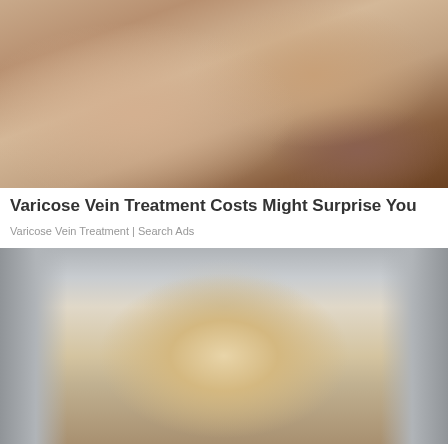[Figure (photo): Close-up photo of a human leg showing varicose veins, with a hand touching the leg]
Varicose Vein Treatment Costs Might Surprise You
Varicose Vein Treatment | Search Ads
[Figure (photo): Photo of a blonde woman looking at the camera, with stone columns in the background]